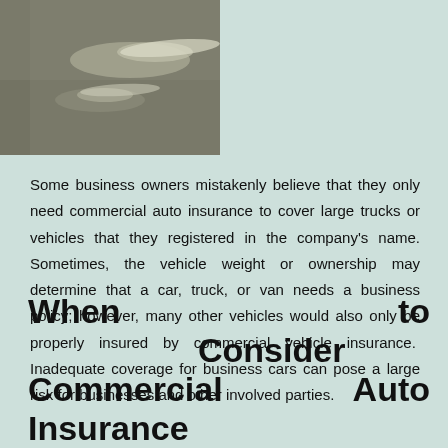[Figure (photo): A close-up photo of a silver/gray vehicle surface, possibly showing reflections of lights on the car hood or roof. The background behind the photo is a light teal/mint color.]
Some business owners mistakenly believe that they only need commercial auto insurance to cover large trucks or vehicles that they registered in the company's name. Sometimes, the vehicle weight or ownership may determine that a car, truck, or van needs a business policy; however, many other vehicles would also only be properly insured by commercial vehicle insurance. Inadequate coverage for business cars can pose a large risk for businesses and other involved parties.
When to Consider Commercial Auto Insurance